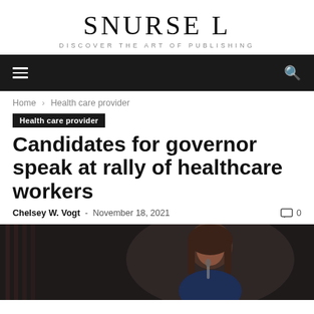SNURSE L
DISCOVER THE ART OF PUBLISHING
Home › Health care provider
Health care provider
Candidates for governor speak at rally of healthcare workers
Chelsey W. Vogt - November 18, 2021  0
[Figure (photo): A woman speaking at a podium with an American flag in the background, in dim lighting]